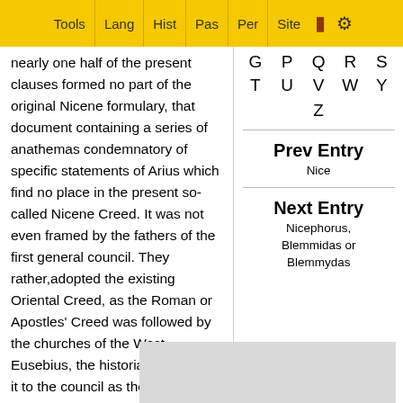Tools | Lang | Hist | Pas | Per | Site
nearly one half of the present clauses formed no part of the original Nicene formulary, that document containing a series of anathemas condemnatory of specific statements of Arius which find no place in the present so-called Nicene Creed. It was not even framed by the fathers of the first general council. They rather,adopted the existing Oriental Creed, as the Roman or Apostles' Creed was followed by the churches of the West. Eusebius, the historian, exhibited it to the council as the ancient creed of the Church of Caesarea, of which he was the bishop. Doubtless it had descended from apostolic al likened to the creed of Antioch...
[Figure (other): Alphabet navigation grid showing letters G P Q R S T U V W Y Z]
Prev Entry
Nice
Next Entry
Nicephorus, Blemmidas or Blemmydas